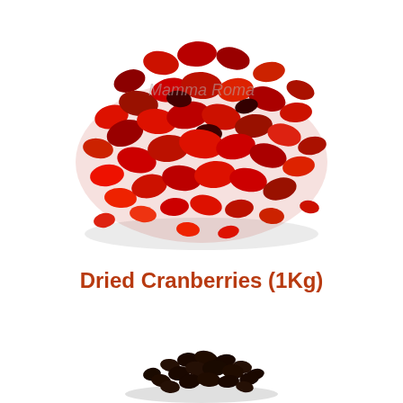[Figure (photo): A large pile of bright red dried cranberries on a white background, viewed from above. A faint watermark reading 'Mamma Roma' is visible in the center of the pile.]
Dried Cranberries (1Kg)
[Figure (photo): A small pile of very dark, almost black dried currants or similar dark dried fruit on a white background, shown at the bottom of the image.]